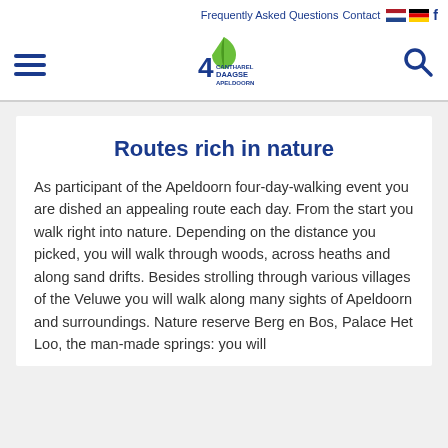Frequently Asked Questions   Contact
[Figure (logo): 4 Cantharel Daagse Apeldoorn logo with green leaf and blue text]
Routes rich in nature
As participant of the Apeldoorn four-day-walking event you are dished an appealing route each day. From the start you walk right into nature. Depending on the distance you picked, you will walk through woods, across heaths and along sand drifts. Besides strolling through various villages of the Veluwe you will walk along many sights of Apeldoorn and surroundings. Nature reserve Berg en Bos, Palace Het Loo, the man-made springs: you will